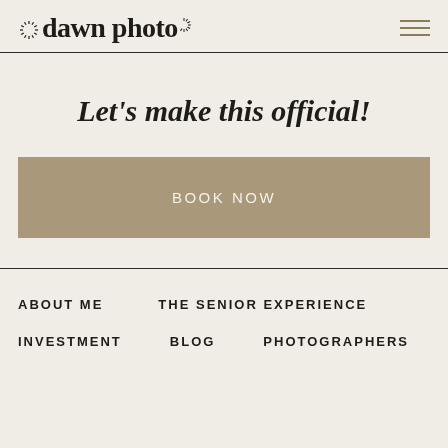dawn photo
Let's make this official!
BOOK NOW
ABOUT ME
THE SENIOR EXPERIENCE
INVESTMENT
BLOG
PHOTOGRAPHERS